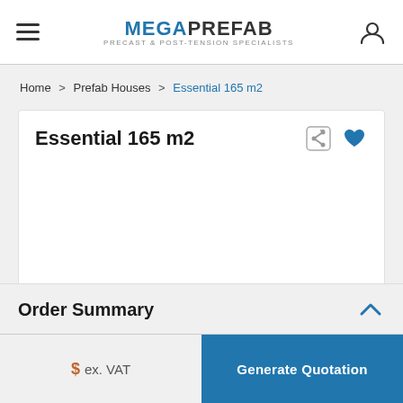MEGAPREFAB – Precast & Post-tension Specialists
Home > Prefab Houses > Essential 165 m2
Essential 165 m2
Order Summary
$ ex. VAT
Generate Quotation